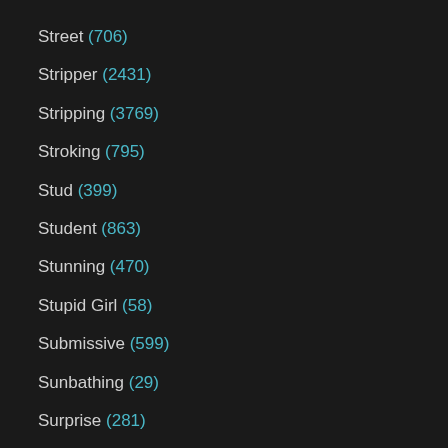Street (706)
Stripper (2431)
Stripping (3769)
Stroking (795)
Stud (399)
Student (863)
Stunning (470)
Stupid Girl (58)
Submissive (599)
Sunbathing (29)
Surprise (281)
Swallowing (5097)
Swallowing Compilation (267)
Swedish (372)
Sweet (1837)